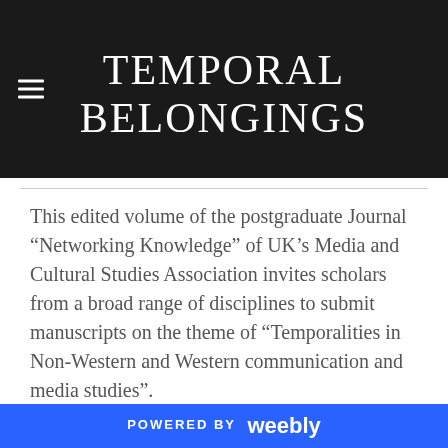TEMPORAL BELONGINGS
This edited volume of the postgraduate Journal “Networking Knowledge” of UK’s Media and Cultural Studies Association invites scholars from a broad range of disciplines to submit manuscripts on the theme of “Temporalities in Non-Western and Western communication and media studies”.
The topic had its peak with every rise of a new medium, with the work of Innis and McLuhan in the 70s in the rise of television at the forefront. With the emergence of the internet as an ubiquitous phenomenon, the topic of temporalities rises to new levels and emergent phenomena
POWERED BY weebly